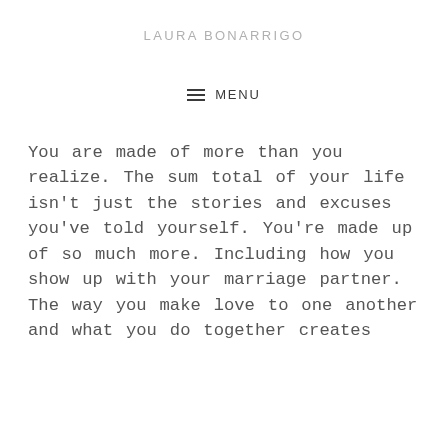LAURA BONARRIGO
☰  MENU
You are made of more than you realize. The sum total of your life isn't just the stories and excuses you've told yourself. You're made up of so much more. Including how you show up with your marriage partner. The way you make love to one another and what you do together creates